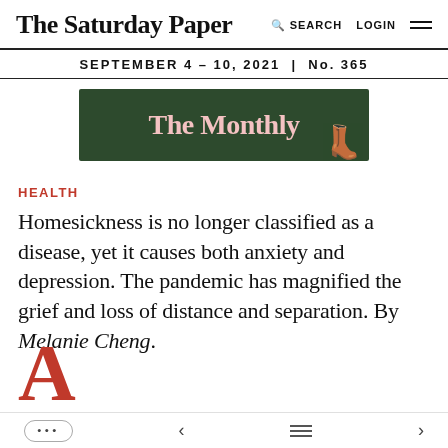The Saturday Paper   SEARCH   LOGIN
SEPTEMBER 4 – 10, 2021 | No. 365
[Figure (illustration): Advertisement banner for The Monthly magazine showing pink text on dark green background with boots on the right side]
HEALTH
Homesickness is no longer classified as a disease, yet it causes both anxiety and depression. The pandemic has magnified the grief and loss of distance and separation. By Melanie Cheng.
A...